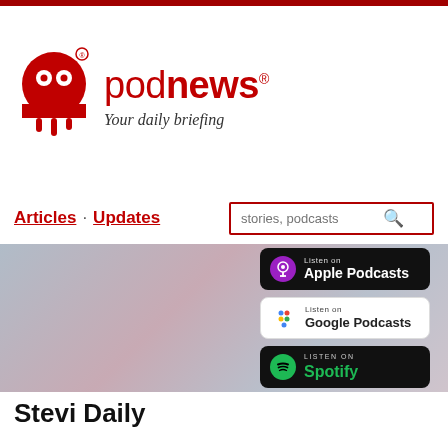[Figure (logo): Podnews logo with red ghost/podcast icon and 'podnews' text in red, subtitle 'Your daily briefing']
Articles · Updates
[Figure (screenshot): Hero banner with gradient background (grey/mauve) showing three podcast platform badges: Listen on Apple Podcasts, Listen on Google Podcasts, Listen on Spotify]
Stevi Daily